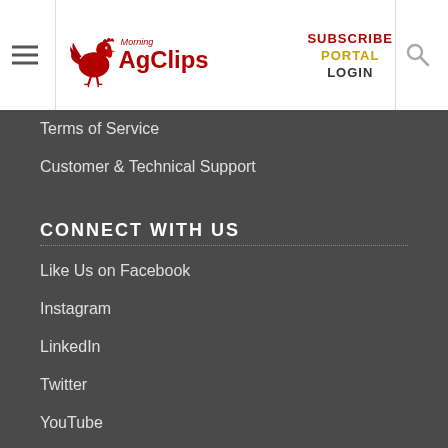Morning AgClips — SUBSCRIBE PORTAL LOGIN
Terms of Service
Customer & Technical Support
CONNECT WITH US
Like Us on Facebook
Instagram
LinkedIn
Twitter
YouTube
TRACK YOUR TRADE
Markets & Economy